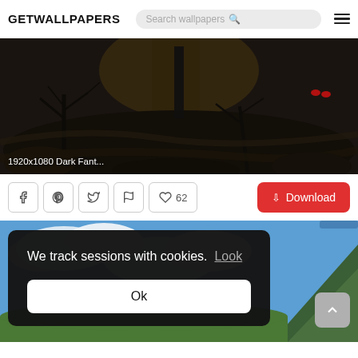GETWALLPAPERS
[Figure (screenshot): Dark fantasy wallpaper 1920x1080 with dark forest and glowing red eyes]
1920x1080 Dark Fant...
Social share buttons: Facebook, Pinterest, Twitter, Flag, Like 62, Download
[Figure (photo): Scenic landscape wallpaper with blue sky, clouds, and green mountain]
We track sessions with cookies. Look
Ok